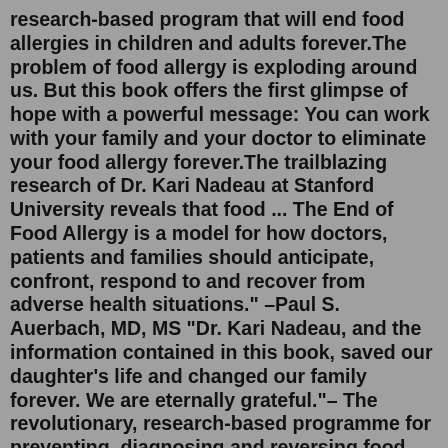research-based program that will end food allergies in children and adults forever.The problem of food allergy is exploding around us. But this book offers the first glimpse of hope with a powerful message: You can work with your family and your doctor to eliminate your food allergy forever.The trailblazing research of Dr. Kari Nadeau at Stanford University reveals that food ... The End of Food Allergy is a model for how doctors, patients and families should anticipate, confront, respond to and recover from adverse health situations." –Paul S. Auerbach, MD, MS "Dr. Kari Nadeau, and the information contained in this book, saved our daughter's life and changed our family forever. We are eternally grateful."– The revolutionary, research-based programme for preventing, diagnosing and reversing food allergies The problem of food allergy is exploding around us: an estimated 2 million people are living with a diagnosed food allergy in the UK alone. This book offers the first glimpse of hope with a powerful